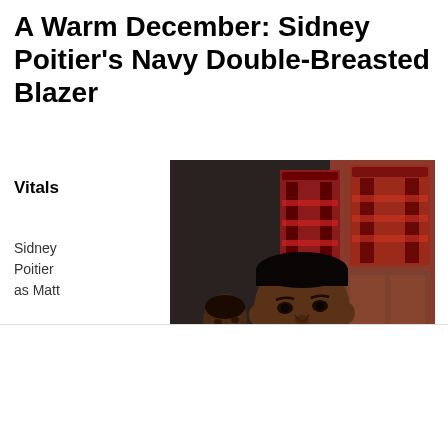A Warm December: Sidney Poitier's Navy Double-Breasted Blazer
Vitals
Sidney Poitier as Matt
[Figure (photo): Sidney Poitier in a navy double-breasted blazer and red tie, seated in what appears to be a restaurant scene, with red chairs visible in the background. Another person is partially visible to his left.]
infolinks